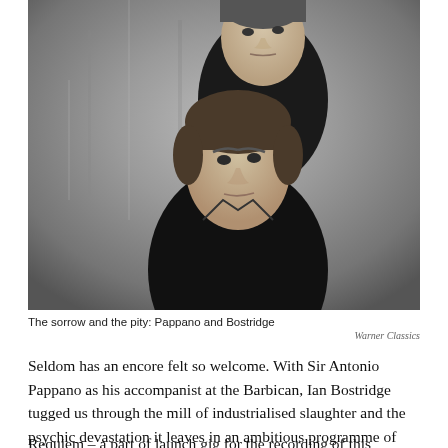[Figure (photo): Black and white photograph of two men (Pappano and Bostridge) against a grey textured background, both dressed in dark clothing. One man is positioned behind and above the other.]
The sorrow and the pity: Pappano and Bostridge
Warner Classics
Seldom has an encore felt so welcome. With Sir Antonio Pappano as his accompanist at the Barbican, Ian Bostridge tugged us through the mill of industrialised slaughter and the psychic devastation it leaves in an ambitious programme of song sequences that evoked “war, and the pity of war”.
Requiem – a part of launch gig for the recording of this